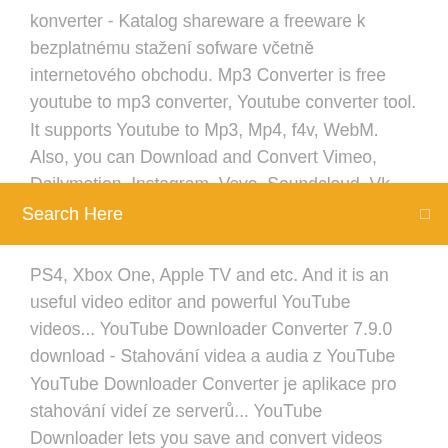konverter - Katalog shareware a freeware k bezplatnému stažení sofware včetně internetového obchodu. Mp3 Converter is free youtube to mp3 converter, Youtube converter tool. It supports Youtube to Mp3, Mp4, f4v, WebM. Also, you can Download and Convert Vimeo, Dailymotion, Instagram, Vevo, Soundcloud, Vk, Facebook and much more. Any Video Converter
Search Here
PS4, Xbox One, Apple TV and etc. And it is an useful video editor and powerful YouTube videos... YouTube Downloader Converter 7.9.0 download - Stahování videa a audia z YouTube YouTube Downloader Converter je aplikace pro stahování videí ze serverů... YouTube Downloader lets you save and convert videos from YouTube and many other sites and play them on your computer, and best of all, it's free! Available for Windows & Mac ecran downloader 5.0, CZ. ecran downloader is a small, efficient and easy to use downloader application.